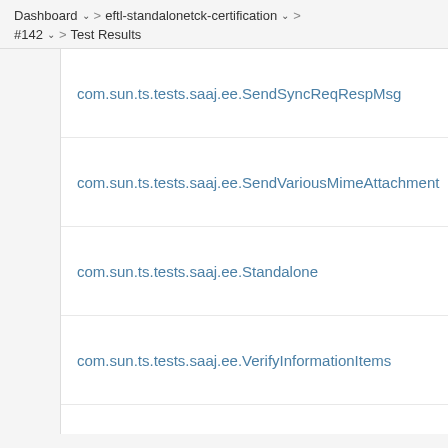Dashboard > eftl-standalonetck-certification > #142 > Test Results
com.sun.ts.tests.saaj.ee.SendSyncReqRespMsg
com.sun.ts.tests.saaj.ee.SendVariousMimeAttachment
com.sun.ts.tests.saaj.ee.Standalone
com.sun.ts.tests.saaj.ee.VerifyInformationItems
com.sun.ts.tests.saaj.ee.WSITests
com.sun.ts.tests.securityapi.ham.autoapplysession
com.sun.ts.tests.securityapi.ham.basic
com.sun.ts.tests.securityapi.ham.customform.bas...